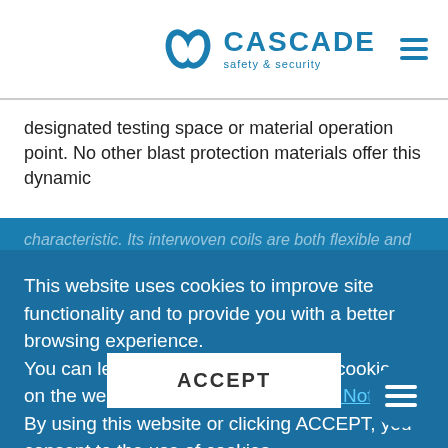CASCADE safety & security
designated testing space or material operation point. No other blast protection materials offer this dynamic characteristic. Its interwoven coils are both flexible and resilient. It forms, in effect, a three-dimensional spring that spreads the explosive forces, like ripples in a pond, outward and away from the building. By a blast, it terminates the energy and debris away from people and property, channeling energy outward.
This website uses cookies to improve site functionality and to provide you with a better browsing experience.
You can learn more about our use of cookies on the website by reading our Cookie Notice. By using this website or clicking ACCEPT, you consent to the use of cookies.
DESIGN OPTIONS
GuardianCoil® systems are available in a range of unique attachments, with customizable hardware
ACCEPT